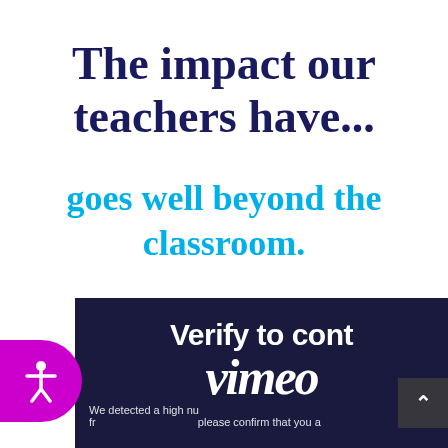The impact our teachers have...
goes well beyond the classroom.
[Figure (screenshot): A dark navy background overlay showing a Vimeo verification screen with 'Verify to cont[inue]' heading, Vimeo watermark logo, and partial text 'We detected a high nu[mber of requests] fr[om your connection.] please confirm that you are [human]'. A grey navigation box with up arrow is visible at the right. A purple accessibility button with figure icon is on the left.]